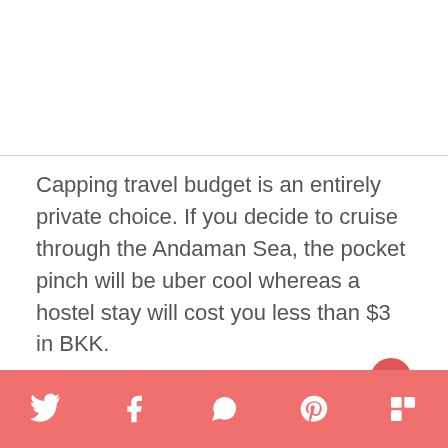Capping travel budget is an entirely private choice. If you decide to cruise through the Andaman Sea, the pocket pinch will be uber cool whereas a hostel stay will cost you less than $3 in BKK.
I prefer comfortable-travel with a dash on luxury once in a while. A 11 day Thailand stay came to be INR 50000 ( $700) for me sans shopping.
Social share bar with Twitter, Facebook, WhatsApp, Pinterest, Flipboard icons